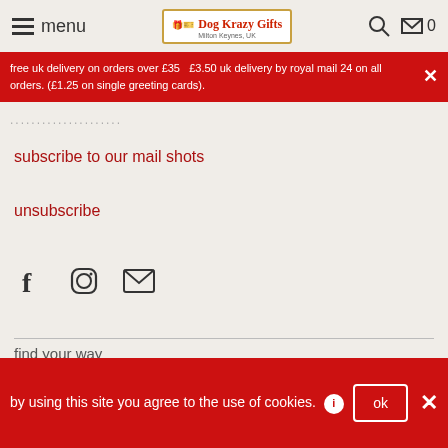menu | Dog Krazy Gifts Milton Keynes, UK
free uk delivery on orders over £35   £3.50 uk delivery by royal mail 24 on all orders. (£1.25 on single greeting cards).
.....................
subscribe to our mail shots
unsubscribe
[Figure (infographic): Social media icons: Facebook (f), Instagram (circle with square), Email (envelope)]
find your way
search
by using this site you agree to the use of cookies.